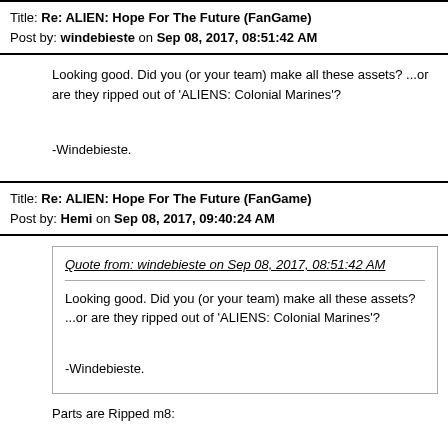Title: Re: ALIEN: Hope For The Future (FanGame)
Post by: windebieste on Sep 08, 2017, 08:51:42 AM
Looking good.  Did you (or your team) make all these assets?  ...or are they ripped out of 'ALIENS: Colonial Marines'?

-Windebieste.
Title: Re: ALIEN: Hope For The Future (FanGame)
Post by: Hemi on Sep 08, 2017, 09:40:24 AM
Quote from: windebieste on Sep 08, 2017, 08:51:42 AM

Looking good.  Did you (or your team) make all these assets? ...or are they ripped out of 'ALIENS: Colonial Marines'?

-Windebieste.
Parts are Ripped m8:

(https://www.avpgalaxy.net/forum/proxy.php?request=http%3A%2F%2Fwww.mostimpressive.nl%2Fripped.jpg&hash=

Aint nothing wrong with that of course!  8)

And I see some new stuff too, so it's a combination